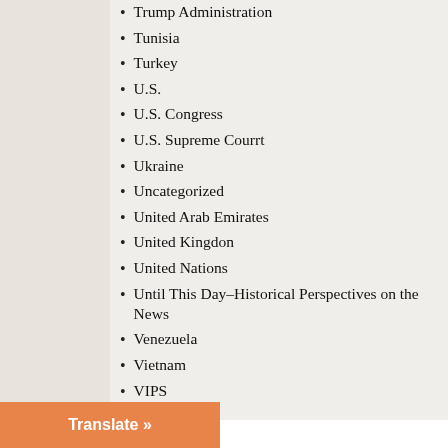Trump Administration
Tunisia
Turkey
U.S.
U.S. Congress
U.S. Supreme Courrt
Ukraine
Uncategorized
United Arab Emirates
United Kingdon
United Nations
Until This Day–Historical Perspectives on the News
Venezuela
Vietnam
VIPS
VIPS Memos
War Crimes
WikiLeaks
WikiLeaks Series
Translate »